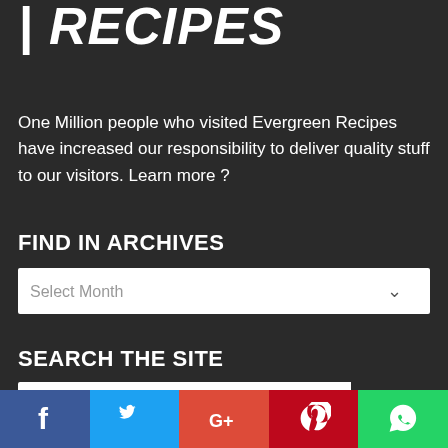| RECIPES
One Million people who visited Evergreen Recipes have increased our responsibility to deliver quality stuff to our visitors. Learn more ?
FIND IN ARCHIVES
Select Month
SEARCH THE SITE
Search
[Figure (infographic): Social media share buttons: Facebook (blue), Twitter (cyan), Google+ (red-orange), Pinterest (dark red), WhatsApp (green)]